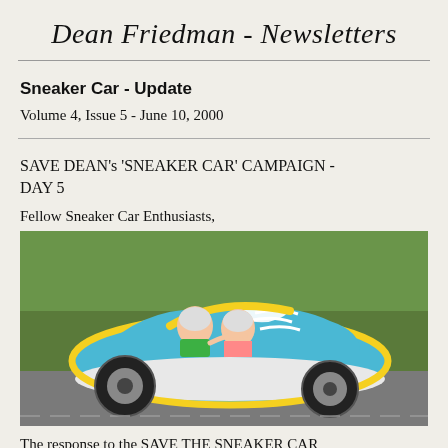Dean Friedman - Newsletters
Sneaker Car - Update
Volume 4, Issue 5 - June 10, 2000
SAVE DEAN's 'SNEAKER CAR' CAMPAIGN - DAY 5
Fellow Sneaker Car Enthusiasts,
[Figure (photo): Two children wearing helmets riding in a sneaker-shaped car (blue and white with yellow trim and white laces) on a road, with greenery in the background.]
The response to the SAVE THE SNEAKER CAR